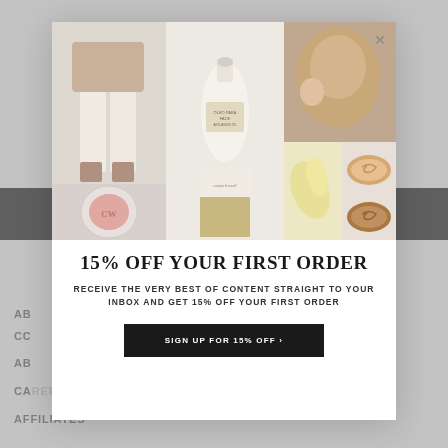[Figure (photo): Background website page in grey with black navigation bar and footer links including ABOUT, CAREERS, AFFILIATES]
[Figure (photo): Modal popup collage of beauty and fashion products: woman in white wide-leg pants, face oil bottle labeled OLEO PARA FACE, smiling woman applying skincare, makeup blush compact with CW logo, yellow oil smear, two open cream/bronzer jars]
15% OFF YOUR FIRST ORDER
RECEIVE THE VERY BEST OF CONTENT STRAIGHT TO YOUR INBOX AND GET 15% OFF YOUR FIRST ORDER
SIGN UP FOR 15% OFF >